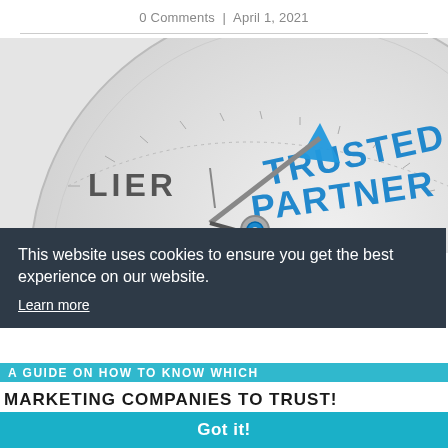0 Comments | April 1, 2021
[Figure (photo): A compass needle pointing to 'TRUSTED PARTNER' in blue text on a white compass face, with partial text 'LIER' visible on the left.]
This website uses cookies to ensure you get the best experience on our website.
Learn more
Got it!
A GUIDE ON HOW TO KNOW WHICH MARKETING COMPANIES TO TRUST!